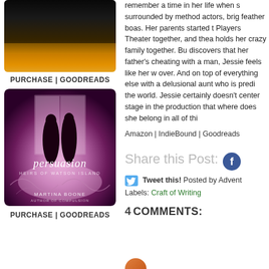[Figure (photo): Top book cover with dark/flame gradient background, partially visible]
PURCHASE | GOODREADS
[Figure (photo): Book cover for 'Persuasion: Heirs of Watson Island' by Martina Boone, showing silhouetted couple in purple-toned ornate hall]
PURCHASE | GOODREADS
remember a time in her life when s surrounded by method actors, brig feather boas. Her parents started t Players Theater together, and thea holds her crazy family together. Bu discovers that her father's cheating with a man, Jessie feels like her w over. And on top of everything else with a delusional aunt who is predi the world. Jessie certainly doesn't center stage in the production that where does she belong in all of thi
Amazon | IndieBound | Goodreads
Share this Post:
Tweet this!   Posted by Advent
Labels: Craft of Writing
4 COMMENTS: